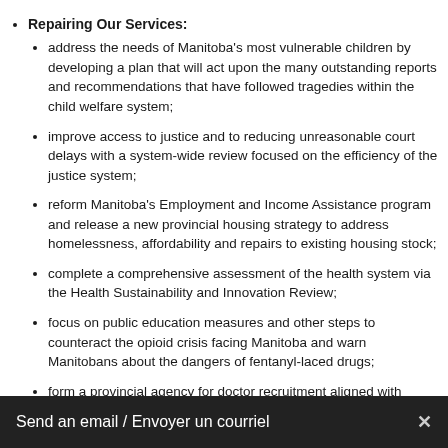Repairing Our Services:
address the needs of Manitoba's most vulnerable children by developing a plan that will act upon the many outstanding reports and recommendations that have followed tragedies within the child welfare system;
improve access to justice and to reducing unreasonable court delays with a system-wide review focused on the efficiency of the justice system;
reform Manitoba's Employment and Income Assistance program and release a new provincial housing strategy to address homelessness, affordability and repairs to existing housing stock;
complete a comprehensive assessment of the health system via the Health Sustainability and Innovation Review;
focus on public education measures and other steps to counteract the opioid crisis facing Manitoba and warn Manitobans about the dangers of fentanyl-laced drugs;
form a provincial agency for doctor recruitment aligned with provincewide priorities of doctor recruitment and retention; and
create pooled retirement pension plans to provide a new option of saving for access to a workplace pension;
Send an email / Envoyer un courriel  ×